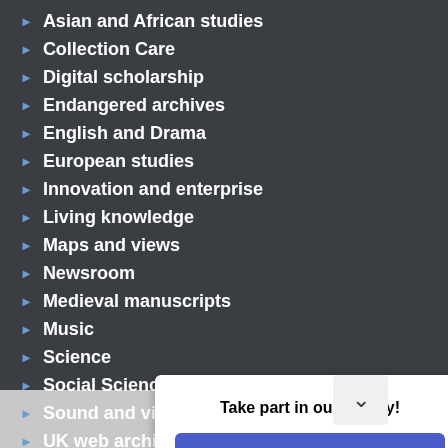Asian and African studies
Collection Care
Digital scholarship
Endangered archives
English and Drama
European studies
Innovation and enterprise
Living knowledge
Maps and views
Newsroom
Medieval manuscripts
Music
Science
Social Science
Sound and vision
UK web archive
Untold li...
Take part in our survey!
Reply